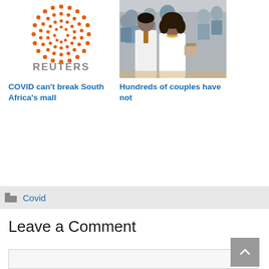[Figure (logo): Reuters logo with orange dot pattern circle and grey REUTERS text]
[Figure (photo): Wedding scene with couples, a woman in white dress holding orange flowers, crowd in background]
COVID can't break South Africa's mall
Hundreds of couples have not
Covid
Leave a Comment